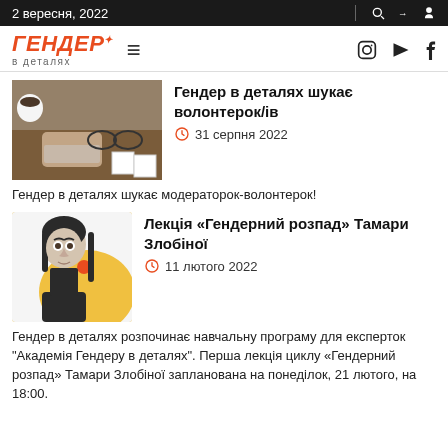2 вересня, 2022
[Figure (logo): ГЕНДЕР в деталях logo with hamburger menu and social icons]
[Figure (photo): Desk with hands typing, coffee, glasses and polaroid photos]
Гендер в деталях шукає волонтерок/ів
31 серпня 2022
Гендер в деталях шукає модераторок-волонтерок!
[Figure (photo): Portrait of Tamara Zlobina with yellow background element]
Лекція «Гендерний розпад» Тамари Злобіної
11 лютого 2022
Гендер в деталях розпочинає навчальну програму для експерток "Академія Гендеру в деталях". Перша лекція циклу «Гендерний розпад» Тамари Злобіної запланована на понеділок, 21 лютого, на 18:00.